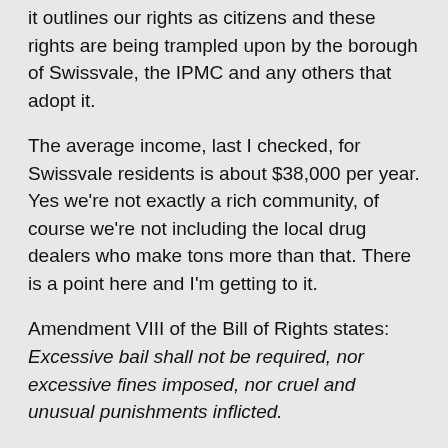it outlines our rights as citizens and these rights are being trampled upon by the borough of Swissvale, the IPMC and any others that adopt it.
The average income, last I checked, for Swissvale residents is about $38,000 per year. Yes we're not exactly a rich community, of course we're not including the local drug dealers who make tons more than that. There is a point here and I'm getting to it.
Amendment VIII of the Bill of Rights states: Excessive bail shall not be required, nor excessive fines imposed, nor cruel and unusual punishments inflicted.
Now read that and think about that $1,000 PER DAY fine and the fact that the average income is $38,000. I think it's a very 'excessive fine' for what it actually is. Think about it, that fine can be for something as simple as not painting the trim on your windows. In that case, and most cases, I believe it's extremely excessive. I even wonder if obtaining a high profiled lawyer with an equally high profiled legal assistant would help, or if they